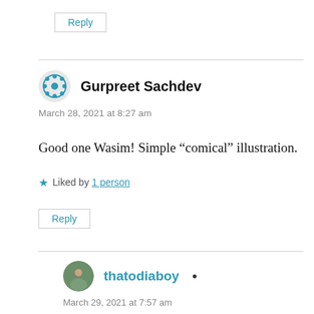Reply
Gurpreet Sachdev
March 28, 2021 at 8:27 am
Good one Wasim! Simple “comical” illustration.
★ Liked by 1 person
Reply
thatodiaboy
March 29, 2021 at 7:57 am